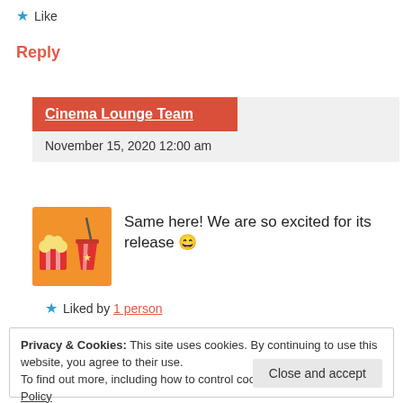★ Like
Reply
Cinema Lounge Team
November 15, 2020 12:00 am
[Figure (illustration): Orange background square with cartoon popcorn bucket and red striped drink cup with star]
Same here! We are so excited for its release 😀
★ Liked by 1 person
Privacy & Cookies: This site uses cookies. By continuing to use this website, you agree to their use.
To find out more, including how to control cookies, see here: Cookie Policy